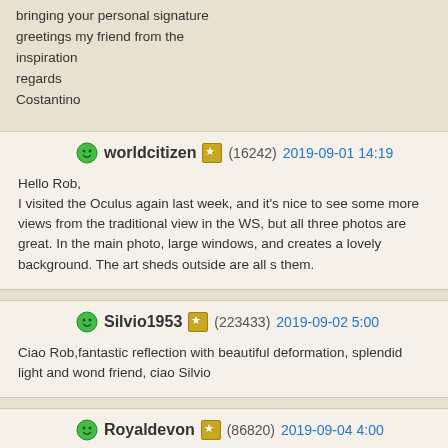bringing your personal signature
greetings my friend from the
inspiration
regards
Costantino
worldcitizen (16242) 2019-09-01 14:19

Hello Rob,
I visited the Oculus again last week, and it's nice to see some more views from the traditional view in the WS, but all three photos are great. In the main photo, large windows, and creates a lovely background. The art sheds outside are all s them.
Silvio1953 (223433) 2019-09-02 5:00

Ciao Rob,fantastic reflection with beautiful deformation, splendid light and wond friend, ciao Silvio
Royaldevon (86820) 2019-09-04 4:00

Hello Rob,

This is an amazing building that so many different, attractive views can be capt